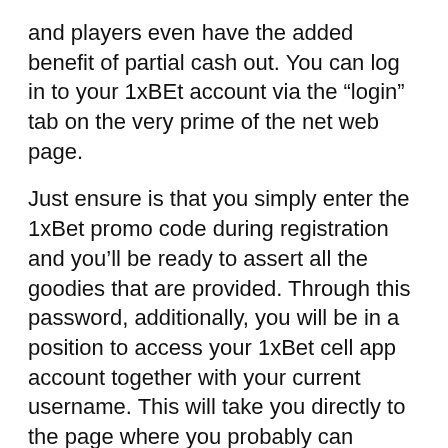and players even have the added benefit of partial cash out. You can log in to your 1xBEt account via the “login” tab on the very prime of the net web page.
Just ensure is that you simply enter the 1xBet promo code during registration and you’ll be ready to assert all the goodies that are provided. Through this password, additionally, you will be in a position to access your 1xBet cell app account together with your current username. This will take you directly to the page where you probably can observe the simple directions to obtain and install the cellular app for 1XBET in your telephone or pill.
Every participant can place bets concurrently he watches video video games since the odds appear on the display. The tips that could open an account on 1xBet on cell models are equal to the registration